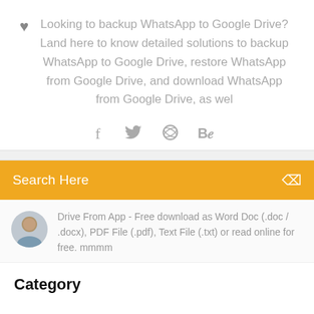Looking to backup WhatsApp to Google Drive? Land here to know detailed solutions to backup WhatsApp to Google Drive, restore WhatsApp from Google Drive, and download WhatsApp from Google Drive, as wel
[Figure (infographic): Social share icons: Facebook (f), Twitter (bird), Dribbble (wheel), Behance (Be) in gray]
[Figure (screenshot): Orange search bar with text 'Search Here' and a search icon on the right]
Drive From App - Free download as Word Doc (.doc / .docx), PDF File (.pdf), Text File (.txt) or read online for free. mmmm
Category